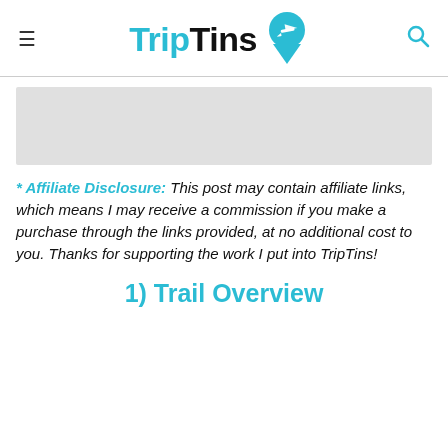TripTins
[Figure (other): Gray rectangular advertisement/image placeholder box]
* Affiliate Disclosure: This post may contain affiliate links, which means I may receive a commission if you make a purchase through the links provided, at no additional cost to you. Thanks for supporting the work I put into TripTins!
1) Trail Overview